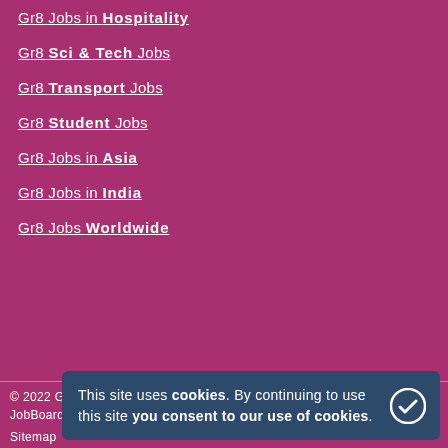Gr8 Jobs in Hospitality
Gr8 Sci & Tech Jobs
Gr8 Transport Jobs
Gr8 Student Jobs
Gr8 Jobs in Asia
Gr8 Jobs in India
Gr8 Jobs Worldwide
© 2022 Gr8 Hospitality Jobs
JobBoard.com software by HotLizard

Sitemap
This site uses cookies. By continuing to use this site you consent to our use of cookies.